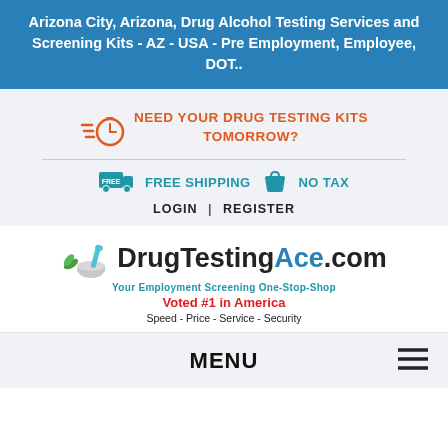Arizona City, Arizona, Drug Alcohol Testing Services and Screening Kits - AZ - USA - Pre Employment, Employee, DOT..
NEED YOUR DRUG TESTING KITS TOMORROW?
FREE SHIPPING   NO TAX
LOGIN | REGISTER
[Figure (logo): DrugTestingAce.com logo with mortar and pestle icon, tagline 'Your Employment Screening One-Stop-Shop', 'Voted #1 in America', 'Speed - Price - Service - Security']
MENU